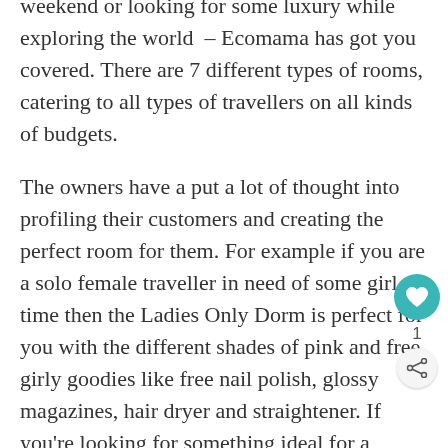weekend or looking for some luxury while exploring the world – Ecomama has got you covered. There are 7 different types of rooms, catering to all types of travellers on all kinds of budgets.
The owners have a put a lot of thought into profiling their customers and creating the perfect room for them. For example if you are a solo female traveller in need of some girl time then the Ladies Only Dorm is perfect for you with the different shades of pink and free girly goodies like free nail polish, glossy magazines, hair dryer and straightener. If you're looking for something ideal for a romantic weekend then the Double Deluxe is perfect. For our flashpackers on a budget who